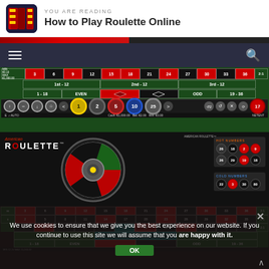YOU ARE READING
How to Play Roulette Online
[Figure (screenshot): Progress bar showing reading progress]
[Figure (screenshot): Navigation bar with hamburger menu and search icon]
[Figure (screenshot): European roulette table layout screenshot showing 1st-12, 2nd-12, 3rd-12, 1-18, EVEN, RED, BLACK, ODD, 19-36 betting areas with chip denominations 1,2,5,10,25]
[Figure (screenshot): American Roulette game screenshot showing roulette wheel and betting table with hot numbers (26,18,2,9,26,29,19,18) and cold numbers (22,3,30,80)]
We use cookies to ensure that we give you the best experience on our website. If you continue to use this site we will assume that you are happy with it.
[Figure (screenshot): American roulette betting table with 00, 0, numbers 1-36, 1st-12, 2nd-12, 3rd-12, 1-18, EVEN, ODD, 19-36, with OK button overlay]